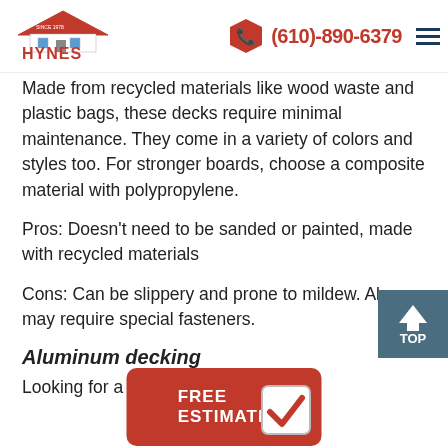Hynes | (610)-890-6379
Made from recycled materials like wood waste and plastic bags, these decks require minimal maintenance. They come in a variety of colors and styles too. For stronger boards, choose a composite material with polypropylene.
Pros: Doesn’t need to be sanded or painted, made with recycled materials
Cons: Can be slippery and prone to mildew. Also may require special fasteners.
Aluminum decking
Looking for a de... ll need little
[Figure (other): TOP scroll-to-top button (grey square with house icon)]
[Figure (other): FREE ESTIMATE red rounded button with checkmark icon]